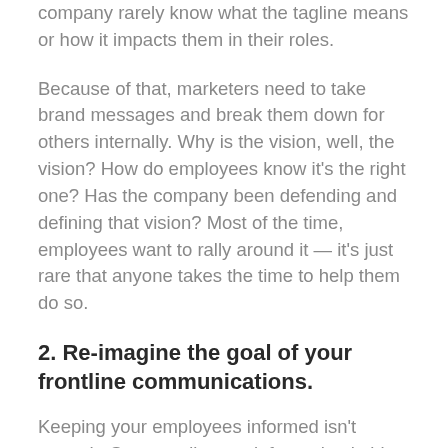company rarely know what the tagline means or how it impacts them in their roles.
Because of that, marketers need to take brand messages and break them down for others internally. Why is the vision, well, the vision? How do employees know it's the right one? Has the company been defending and defining that vision? Most of the time, employees want to rally around it — it's just rare that anyone takes the time to help them do so.
2. Re-imagine the goal of your frontline communications.
Keeping your employees informed isn't enough. Stop sending out information in big